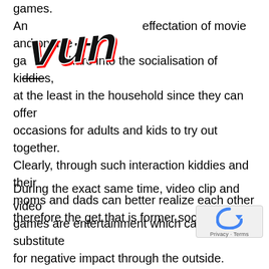games. An effectation of movie and on-line games share into the socialisation of kiddies, at the least in the household since they can offer occasions for adults and kids to try out together. Clearly, through such interaction kiddies and their moms and dads can better realize each other therefore the get that is former socialised.
[Figure (logo): Bold stylized text logo/watermark overlaid on top-left of paragraph text]
During the exact same time, video clip and video games are entertainment which can be an substitute for negative impact through the outside. Easily put, it might be an alternate to an adverse social surrounding of a child, by way of example whenever peers are characterised by deviant or anti-social behavior.
Finally, video clip and on-line games donate to substantial progress that is intellectual of through